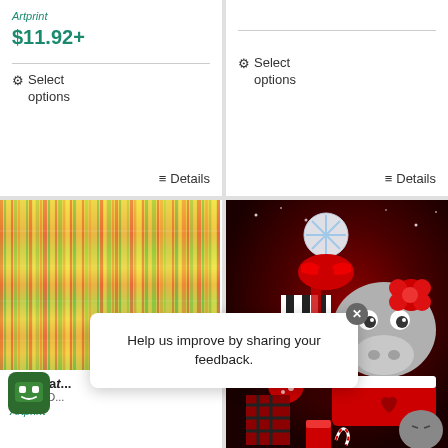Artprint
$11.92+
Select options
Details
Select options
Details
[Figure (photo): Variegated abstract colorful vertical streaks artwork]
[Figure (photo): Christmas hippo with gifts, red background, festive holiday scene]
Variegat...
Denise D...
Artprint
Help us improve by sharing your feedback.